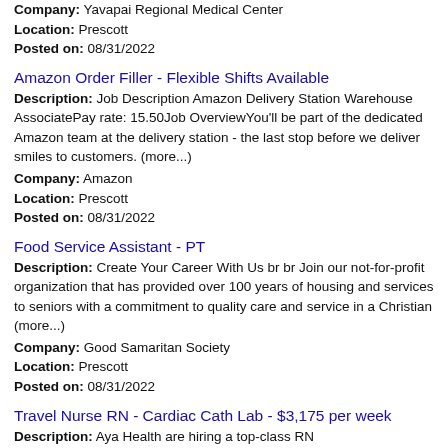Company: Yavapai Regional Medical Center
Location: Prescott
Posted on: 08/31/2022
Amazon Order Filler - Flexible Shifts Available
Description: Job Description Amazon Delivery Station Warehouse AssociatePay rate: 15.50Job OverviewYou'll be part of the dedicated Amazon team at the delivery station - the last stop before we deliver smiles to customers. (more...)
Company: Amazon
Location: Prescott
Posted on: 08/31/2022
Food Service Assistant - PT
Description: Create Your Career With Us br br Join our not-for-profit organization that has provided over 100 years of housing and services to seniors with a commitment to quality care and service in a Christian (more...)
Company: Good Samaritan Society
Location: Prescott
Posted on: 08/31/2022
Travel Nurse RN - Cardiac Cath Lab - $3,175 per week
Description: Aya Health are hiring a top-class RN...